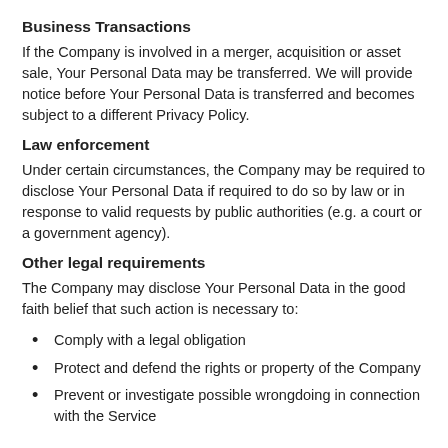Business Transactions
If the Company is involved in a merger, acquisition or asset sale, Your Personal Data may be transferred. We will provide notice before Your Personal Data is transferred and becomes subject to a different Privacy Policy.
Law enforcement
Under certain circumstances, the Company may be required to disclose Your Personal Data if required to do so by law or in response to valid requests by public authorities (e.g. a court or a government agency).
Other legal requirements
The Company may disclose Your Personal Data in the good faith belief that such action is necessary to:
Comply with a legal obligation
Protect and defend the rights or property of the Company
Prevent or investigate possible wrongdoing in connection with the Service